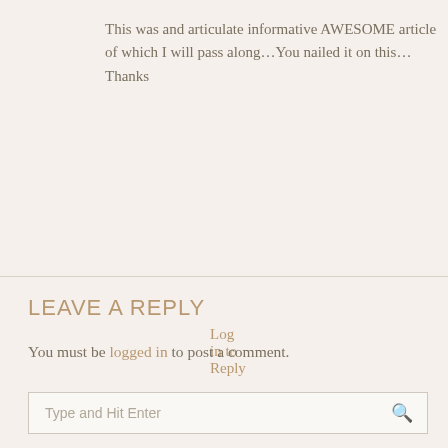This was and articulate informative AWESOME article of which I will pass along…You nailed it on this…Thanks
Log in to Reply
LEAVE A REPLY
You must be logged in to post a comment.
This site uses Akismet to reduce spam. Learn how your comment data is processed.